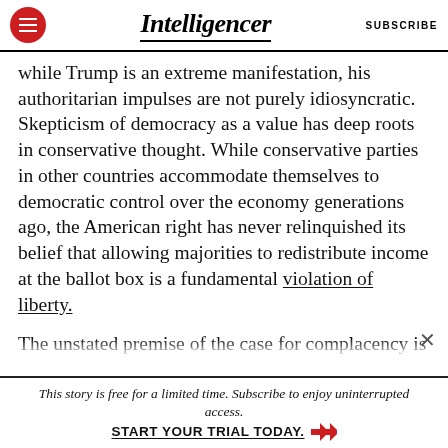Intelligencer | SUBSCRIBE
while Trump is an extreme manifestation, his authoritarian impulses are not purely idiosyncratic. Skepticism of democracy as a value has deep roots in conservative thought. While conservative parties in other countries accommodate themselves to democratic control over the economy generations ago, the American right has never relinquished its belief that allowing majorities to redistribute income at the ballot box is a fundamental violation of liberty.
The unstated premise of the case for complacency is
This story is free for a limited time. Subscribe to enjoy uninterrupted access. START YOUR TRIAL TODAY. ➤➤